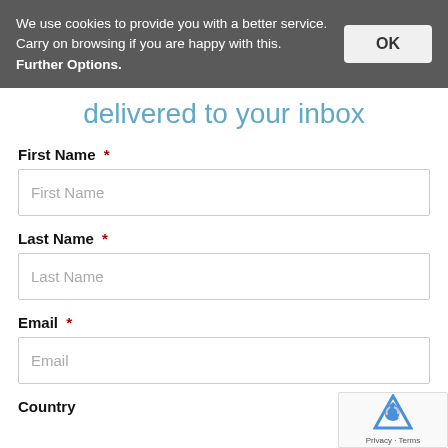We use cookies to provide you with a better service. Carry on browsing if you are happy with this. Further Options.
delivered to your inbox
First Name *
Last Name *
Email *
Country